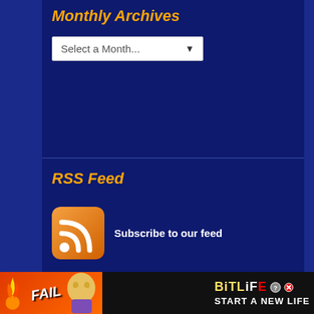Monthly Archives
Select a Month...
RSS Feed
Subscribe to our feed
Legal notice
All games mentioned or hosted and images appearing on JayIsGames are Copyright their respective owner(s).
All other content is Copyright ©2003-2022 JayIsGames.com. All Rights Reserved.
[Figure (other): BitLife advertisement banner with FAIL text, cartoon character, flames, and 'START A NEW LIFE' tagline]